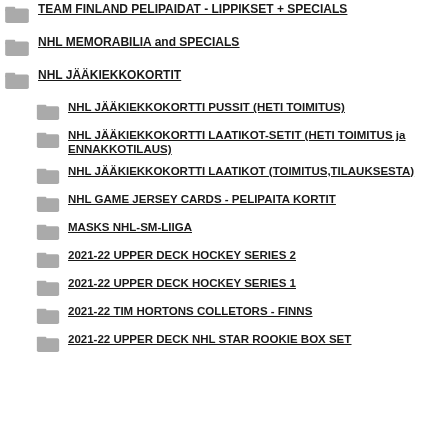TEAM FINLAND PELIPAIDAT - LIPPIKSET + SPECIALS
NHL MEMORABILIA and SPECIALS
NHL JÄÄKIEKKOKORTIT
NHL JÄÄKIEKKOKORTTI PUSSIT (HETI TOIMITUS)
NHL JÄÄKIEKKOKORTTI LAATIKOT-SETIT (HETI TOIMITUS ja ENNAKKOTILAUS)
NHL JÄÄKIEKKOKORTTI LAATIKOT (TOIMITUS,TILAUKSESTA)
NHL GAME JERSEY CARDS - PELIPAITA KORTIT
MASKS NHL-SM-LIIGA
2021-22 UPPER DECK HOCKEY SERIES 2
2021-22 UPPER DECK HOCKEY SERIES 1
2021-22 TIM HORTONS COLLETORS - FINNS
2021-22 UPPER DECK NHL STAR ROOKIE BOX SET